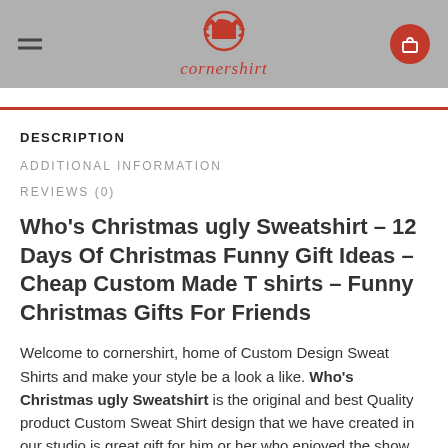cornershirt
DESCRIPTION
ADDITIONAL INFORMATION
REVIEWS (0)
Who’s Christmas ugly Sweatshirt – 12 Days Of Christmas Funny Gift Ideas – Cheap Custom Made T shirts – Funny Christmas Gifts For Friends
Welcome to cornershirt, home of Custom Design Sweat Shirts and make your style be a look a like. Who’s Christmas ugly Sweatshirt is the original and best Quality product Custom Sweat Shirt design that we have created in our studio is great gift for him or her who enjoyed the show and